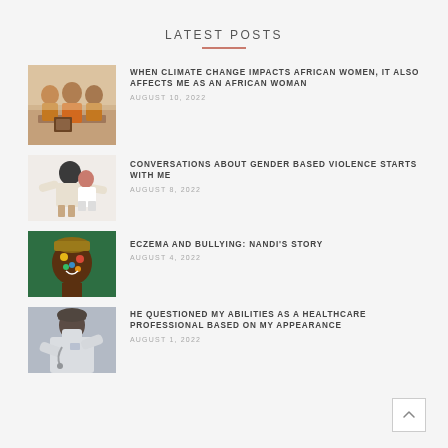LATEST POSTS
WHEN CLIMATE CHANGE IMPACTS AFRICAN WOMEN, IT ALSO AFFECTS ME AS AN AFRICAN WOMAN
AUGUST 10, 2022
CONVERSATIONS ABOUT GENDER BASED VIOLENCE STARTS WITH ME
AUGUST 8, 2022
ECZEMA AND BULLYING: NANDI'S STORY
AUGUST 4, 2022
HE QUESTIONED MY ABILITIES AS A HEALTHCARE PROFESSIONAL BASED ON MY APPEARANCE
AUGUST 1, 2022